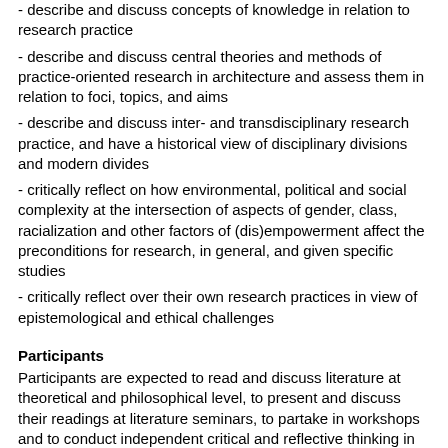- describe and discuss concepts of knowledge in relation to research practice
- describe and discuss central theories and methods of practice-oriented research in architecture and assess them in relation to foci, topics, and aims
- describe and discuss inter- and transdisciplinary research practice, and have a historical view of disciplinary divisions and modern divides
- critically reflect on how environmental, political and social complexity at the intersection of aspects of gender, class, racialization and other factors of (dis)empowerment affect the preconditions for research, in general, and given specific studies
- critically reflect over their own research practices in view of epistemological and ethical challenges
Participants
Participants are expected to read and discuss literature at theoretical and philosophical level, to present and discuss their readings at literature seminars, to partake in workshops and to conduct independent critical and reflective thinking in the writing of a paper and / or the making of an exhibit. To be eligible for the course,